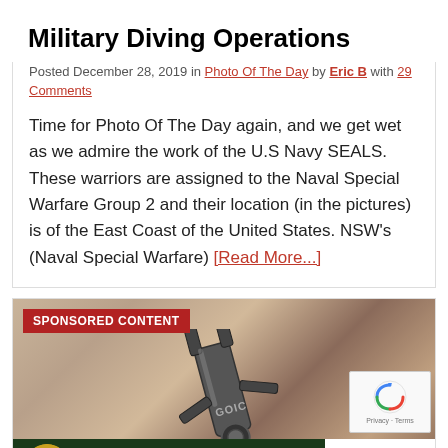Military Diving Operations
Posted December 28, 2019 in Photo Of The Day by Eric B with 29 Comments
Time for Photo Of The Day again, and we get wet as we admire the work of the U.S Navy SEALS. These warriors are assigned to the Naval Special Warfare Group 2 and their location (in the pictures) is of the East Coast of the United States. NSW's (Naval Special Warfare) [Read More...]
[Figure (photo): Sponsored content advertisement showing a multi-tool device on rocky background with Bass Pro Shops Reloading Supplies banner and Shop Now button]